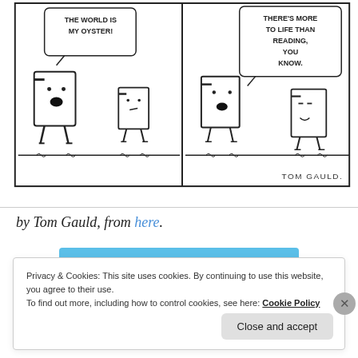[Figure (illustration): Tom Gauld comic strip showing animated book characters. Left panel: a book character says 'THE WORLD IS MY OYSTER!' with another book listening. Right panel: a book says 'THERE'S MORE TO LIFE THAN READING, YOU KNOW.' and another responds '— LOTS MORE.' Signed 'TOM GAULD.' at bottom right.]
by Tom Gauld, from here.
[Figure (other): Day One app advertisement banner. Blue background with 'DAY ONE' text and icons of a notebook, person, and list. Text reads: 'The only journaling app you'll ever need.']
REPORT THIS AD
Privacy & Cookies: This site uses cookies. By continuing to use this website, you agree to their use.
To find out more, including how to control cookies, see here: Cookie Policy
Close and accept